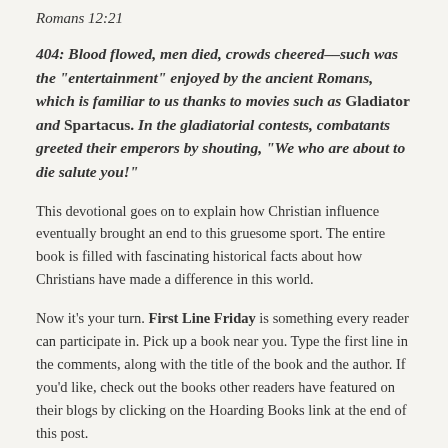Romans 12:21
404: Blood flowed, men died, crowds cheered––such was the "entertainment" enjoyed by the ancient Romans, which is familiar to us thanks to movies such as Gladiator and Spartacus. In the gladiatorial contests, combatants greeted their emperors by shouting, "We who are about to die salute you!"
This devotional goes on to explain how Christian influence eventually brought an end to this gruesome sport. The entire book is filled with fascinating historical facts about how Christians have made a difference in this world.
Now it’s your turn. First Line Friday is something every reader can participate in. Pick up a book near you. Type the first line in the comments, along with the title of the book and the author. If you’d like, check out the books other readers have featured on their blogs by clicking on the Hoarding Books link at the end of this post.